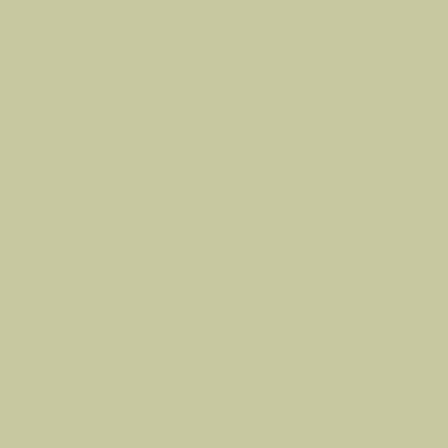Dave Scott ☺ OP
Trail Leader
In my home brew Tuffy-esque center console. But, I don't drink beer a with anyway, so I can wait till I get home. <img src="/forums/images/gr
Re: it's been a while... Re: Dave Scott
Dave Scott ☺ OP
Trail Leader
Ok, so, moving along, I still have some issues with the Sportage. Have the cooling system. It still pushes out under the radiator cap when driv new radiator coming, but I don't know for sure that's the issue. I took it until the radiator was replaced, for $600+, so, I'm doing it. This will be 4th. Then I can test other things to see if that was the problem or not. I am throwing parts at it, yes, it is more expensive than testing this and patience for testing everything and I can do the labor myself. So, that more specifically, the speakers. I hope someone in here knows some stereo with a Sony xplod, 52w per channel. Now that I have replaced speakers sound great and the rears are popping at volume and low em not powerful enough. I don't know the rms on the speakers since they 100w peak and blue cone. Per Sony, the deck is only 17w per chan